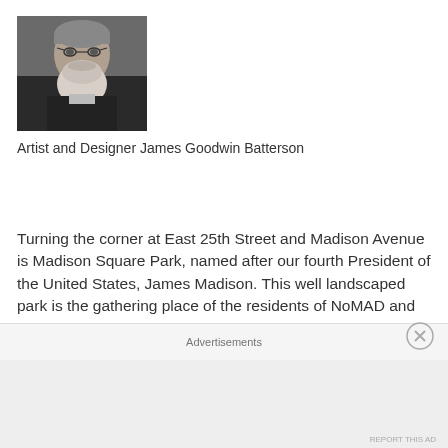[Figure (photo): Black and white portrait photograph of an elderly man with a long white beard, wearing dark clothing.]
Artist and Designer James Goodwin Batterson
https://en.wikipedia.org/wiki/James_G._Batterson
Turning the corner at East 25th Street and Madison Avenue is Madison Square Park, named after our fourth President of the United States, James Madison. This well landscaped park is the gathering place of the residents of NoMAD and has a wonderful playground that has been busy the whole time I have spent in the neighborhood
Advertisements